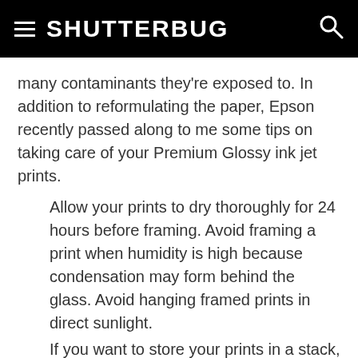SHUTTERBUG
many contaminants they're exposed to. In addition to reformulating the paper, Epson recently passed along to me some tips on taking care of your Premium Glossy ink jet prints.
Allow your prints to dry thoroughly for 24 hours before framing. Avoid framing a print when humidity is high because condensation may form behind the glass. Avoid hanging framed prints in direct sunlight.
If you want to store your prints in a stack, allow them to dry individually for at least 15 minutes, then place a sheet of plain paper (Epson supplies sheets with their Glossy Film)